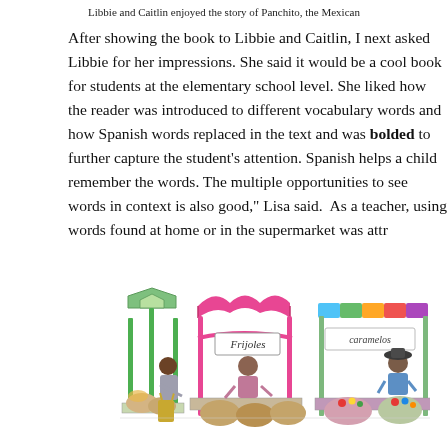Libbie and Caitlin enjoyed the story of Panchito, the Mexican
After showing the book to Libbie and Caitlin, I next asked Libbie for her impressions. She said it would be a cool book for students at the elementary school level. She liked how the reader was introduced to different vocabulary words and how Spanish words replaced in the text and was bolded to further capture the student's attention. "Seeing the Spanish helps a child remember the words. The multiple opportunities to see words in context is also good," Lisa said.  As a teacher, using words found at home or in the supermarket was attr
[Figure (illustration): A colorful illustration of a Mexican market scene with three stalls. The middle stall has a pink awning with a sign reading 'Frijoles'. The right stall has a colorful awning with a sign reading 'Caramelos'. Vendors and customers are shown at the stalls with large pots and bowls of goods.]